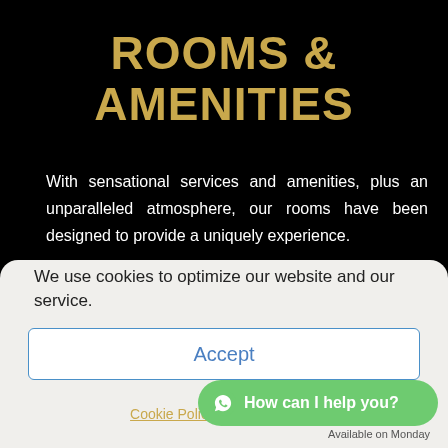ROOMS & AMENITIES
With sensational services and amenities, plus an unparalleled atmosphere, our rooms have been designed to provide a uniquely experience.
OCEAN VIEW ROOM
We use cookies to optimize our website and our service.
Accept
Cookie Policy  Privacy Policy
How can I help you?  Available on Monday